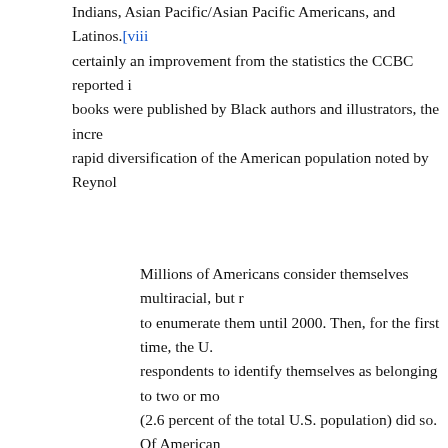Indians, Asian Pacific/Asian Pacific Americans, and Latinos.[viii] certainly an improvement from the statistics the CCBC reported i books were published by Black authors and illustrators, the increa rapid diversification of the American population noted by Reynol
Millions of Americans consider themselves multiracial, but r to enumerate them until 2000. Then, for the first time, the U. respondents to identify themselves as belonging to two or mo (2.6 percent of the total U.S. population) did so. Of American eighteen, 2.85 million were identified as belonging to two or all American children). Thirty-nine percent of mixed-race indi under age eighteen, as opposed to 26 percent of the total pop mixed race population is growing much faster than the mono
As Reynolds points out, America is steadily becoming more diver literature. Writers of the CCBC Choices share a similar view. Cho importance of multicultural literature by emphasizing that "…all literature to illuminate the nation and the world in which they live home the idea the significance of having more books about raci